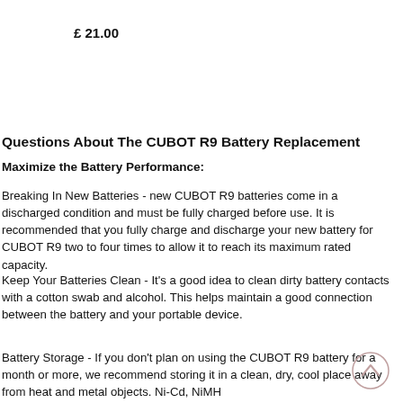£ 21.00
Questions About The CUBOT R9 Battery Replacement
Maximize the Battery Performance:
Breaking In New Batteries - new CUBOT R9 batteries come in a discharged condition and must be fully charged before use. It is recommended that you fully charge and discharge your new battery for CUBOT R9 two to four times to allow it to reach its maximum rated capacity.
Keep Your Batteries Clean - It's a good idea to clean dirty battery contacts with a cotton swab and alcohol. This helps maintain a good connection between the battery and your portable device.
Battery Storage - If you don't plan on using the CUBOT R9 battery for a month or more, we recommend storing it in a clean, dry, cool place away from heat and metal objects. Ni-Cd, NiMH